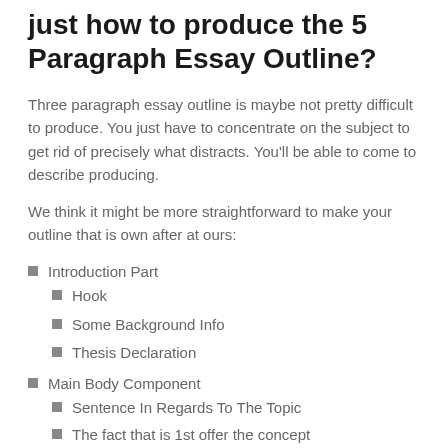just how to produce the 5 Paragraph Essay Outline?
Three paragraph essay outline is maybe not pretty difficult to produce. You just have to concentrate on the subject to get rid of precisely what distracts. You'll be able to come to describe producing.
We think it might be more straightforward to make your outline that is own after at ours:
Introduction Part
Hook
Some Background Info
Thesis Declaration
Main Body Component
Sentence In Regards To The Topic
The fact that is 1st offer the concept
The fact that is 2d offer the concept